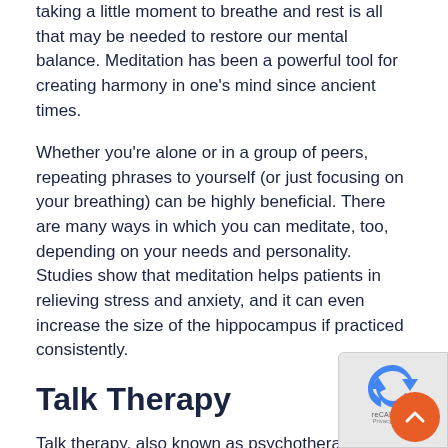taking a little moment to breathe and rest is all that may be needed to restore our mental balance. Meditation has been a powerful tool for creating harmony in one’s mind since ancient times.
Whether you’re alone or in a group of peers, repeating phrases to yourself (or just focusing on your breathing) can be highly beneficial. There are many ways in which you can meditate, too, depending on your needs and personality. Studies show that meditation helps patients in relieving stress and anxiety, and it can even increase the size of the hippocampus if practiced consistently.
Talk Therapy
Talk therapy, also known as psychotherapy, is a